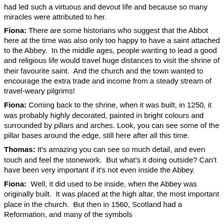had led such a virtuous and devout life and because so many miracles were attributed to her.
Fiona: There are some historians who suggest that the Abbot here at the time was also only too happy to have a saint attached to the Abbey. In the middle ages, people wanting to lead a good and religious life would travel huge distances to visit the shrine of their favourite saint. And the church and the town wanted to encourage the extra trade and income from a steady stream of travel-weary pilgrims!
Fiona: Coming back to the shrine, when it was built, in 1250, it was probably highly decorated, painted in bright colours and surrounded by pillars and arches. Look, you can see some of the pillar bases around the edge, still here after all this time.
Thomas: It's amazing you can see so much detail, and even touch and feel the stonework. But what's it doing outside? Can't have been very important if it's not even inside the Abbey.
Fiona: Well, it did used to be inside, when the Abbey was originally built. It was placed at the high altar, the most important place in the church. But then in 1560, Scotland had a Reformation, and many of the symbols